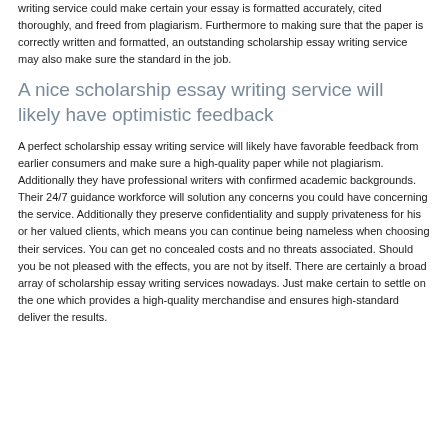writing service could make certain your essay is formatted accurately, cited thoroughly, and freed from plagiarism. Furthermore to making sure that the paper is correctly written and formatted, an outstanding scholarship essay writing service may also make sure the standard in the job.
A nice scholarship essay writing service will likely have optimistic feedback
A perfect scholarship essay writing service will likely have favorable feedback from earlier consumers and make sure a high-quality paper while not plagiarism. Additionally they have professional writers with confirmed academic backgrounds. Their 24/7 guidance workforce will solution any concerns you could have concerning the service. Additionally they preserve confidentiality and supply privateness for his or her valued clients, which means you can continue being nameless when choosing their services. You can get no concealed costs and no threats associated. Should you be not pleased with the effects, you are not by itself. There are certainly a broad array of scholarship essay writing services nowadays. Just make certain to settle on the one which provides a high-quality merchandise and ensures high-standard deliver the results.